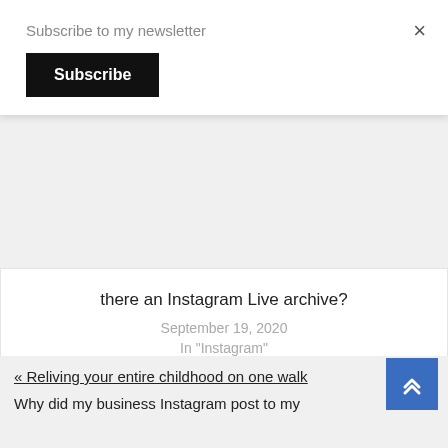Subscribe to my newsletter
Subscribe
×
there an Instagram Live archive?
September 19, 2020
In "Instagram"
« Reliving your entire childhood on one walk
Why did my business Instagram post to my